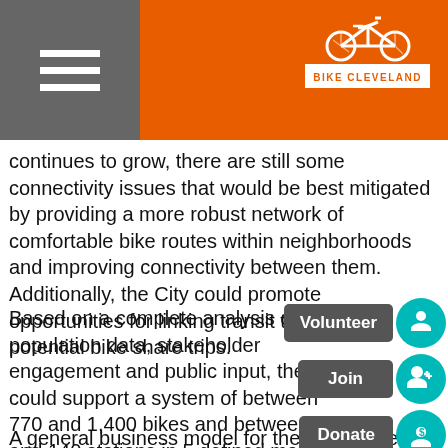Bike Cleveland
continues to grow, there are still some connectivity issues that would be best mitigated by providing a more robust network of comfortable bike routes within neighborhoods and improving connectivity between them. Additionally, the City could promote opportunities for linking transit trips with potential bike share trips.
Based on a complete analysis of population data, stakeholder engagement and public input, the City could support a system of between 770 and 1,400 bikes and between 70 and 140 stations in 5 defined market areas. The proposed system would have a concentration in Downtown and University Circle and expand into Midtown, Ohio City and Tremont. These locations offer the highest potential demand for bike share
A general business model for the bike share